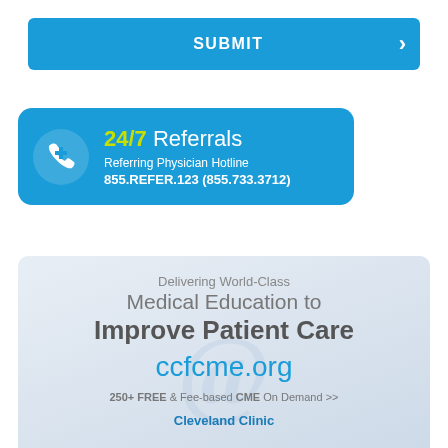SUBMIT
[Figure (infographic): 24/7 Referrals box with phone icon, text: Referring Physician Hotline 855.REFER.123 (855.733.3712)]
[Figure (infographic): Cleveland Clinic CME banner: Delivering World-Class Medical Education to Improve Patient Care, ccfcme.org, 250+ FREE & Fee-based CME On Demand >>]